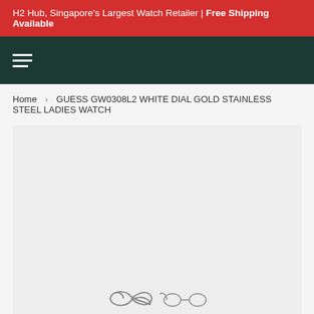H2 Hub, Singapore's Largest Watch Retailer | Free Shipping Available
[Figure (other): Dark green navigation bar with hamburger menu icon (three horizontal white lines)]
Home > GUESS GW0308L2 WHITE DIAL GOLD STAINLESS STEEL LADIES WATCH
[Figure (other): Light gray product image placeholder box with an infinity/loading symbol at the bottom center]